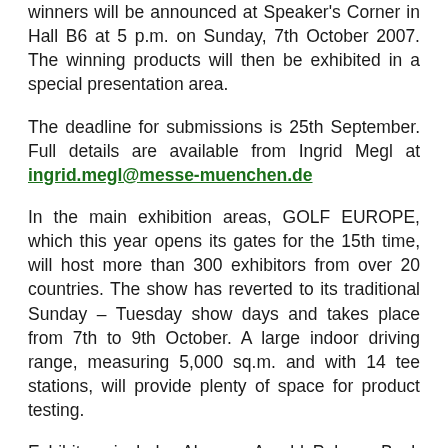winners will be announced at Speaker's Corner in Hall B6 at 5 p.m. on Sunday, 7th October 2007. The winning products will then be exhibited in a special presentation area.
The deadline for submissions is 25th September. Full details are available from Ingrid Megl at ingrid.megl@messe-muenchen.de
In the main exhibition areas, GOLF EUROPE, which this year opens its gates for the 15th time, will host more than 300 exhibitors from over 20 countries. The show has reverted to its traditional Sunday – Tuesday show days and takes place from 7th to 9th October. A large indoor driving range, measuring 5,000 sq.m. and with 14 tee stations, will provide plenty of space for product testing.
Exhibitors include: Abacus, Arnold Palmer, Back Tee, Ben Hogan, Bridgestone, Callaway, Cobra, Dunlop, Ecco, FootJoy, Galvin Green, Genuin, Glenmuir, Golfino, Hauer, H2O Golf, HI TEC, Honma, ...